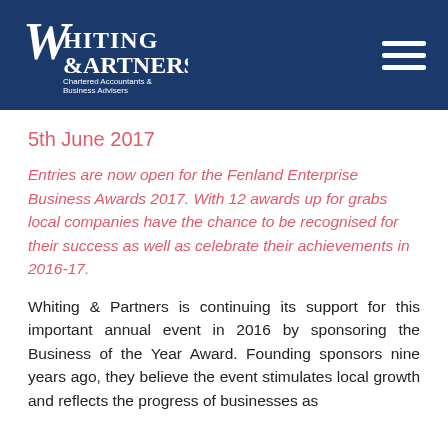Whiting & Partners — Chartered Accountants & Business Advisers
5th June 2017
Entries are now open for the Fenland Enterprise Business Awards 2017. With 12 awards up for grabs local companies have the chance to be recognised for their success as well as celebrate their achievements in 2016-17.
Whiting & Partners is continuing its support for this important annual event in 2016 by sponsoring the Business of the Year Award. Founding sponsors nine years ago, they believe the event stimulates local growth and reflects the progress of businesses as